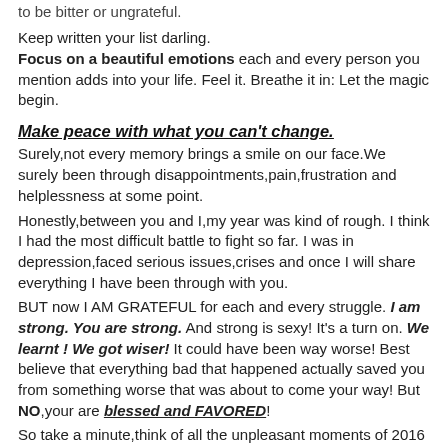to be bitter or ungrateful.
Keep written your list darling. Focus on a beautiful emotions each and every person you mention adds into your life. Feel it. Breathe it in: Let the magic begin.
Make peace with what you can't change.
Surely,not every memory brings a smile on our face.We surely been through disappointments,pain,frustration and helplessness at some point.
Honestly,between you and I,my year was kind of rough. I think I had the most difficult battle to fight so far. I was in depression,faced serious issues,crises and once I will share everything I have been through with you.
BUT now I AM GRATEFUL for each and every struggle. I am strong. You are strong. And strong is sexy! It's a turn on. We learnt ! We got wiser! It could have been way worse! Best believe that everything bad that happened actually saved you from something worse that was about to come your way! But NO,your are blessed and FAVORED!
So take a minute,think of all the unpleasant moments of 2016 and thank for it. Trust me when I tell you something